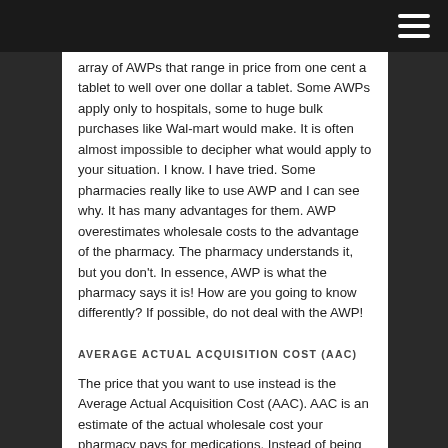Navigation menu icon
array of AWPs that range in price from one cent a tablet to well over one dollar a tablet. Some AWPs apply only to hospitals, some to huge bulk purchases like Wal-mart would make. It is often almost impossible to decipher what would apply to your situation. I know. I have tried. Some pharmacies really like to use AWP and I can see why. It has many advantages for them. AWP overestimates wholesale costs to the advantage of the pharmacy. The pharmacy understands it, but you don't. In essence, AWP is what the pharmacy says it is! How are you going to know differently? If possible, do not deal with the AWP!
AVERAGE ACTUAL ACQUISITION COST (AAC)
The price that you want to use instead is the Average Actual Acquisition Cost (AAC). AAC is an estimate of the actual wholesale cost your pharmacy pays for medications. Instead of being head-scratchingly hard to understand, AAC is easy to understand. It is the true